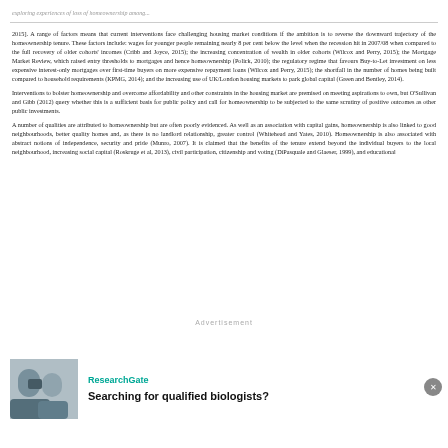exploring experiences of loss of homeownership among...
2015]. A range of factors means that current interventions face challenging housing market conditions if the ambition is to reverse the downward trajectory of the homeownership tenure. These factors include: wages for younger people remaining nearly 8 per cent below the level when the recession hit in 2007/08 when compared to the full recovery of older cohorts' incomes (Cribb and Joyce, 2015); the increasing concentration of wealth in older cohorts (Wilcox and Perry, 2015); the Mortgage Market Review, which raised entry thresholds to mortgages and hence homeownership (Polick, 2010); the regulatory regime that favours Buy-to-Let investment on less expensive interest-only mortgages over first-time buyers on more expensive repayment loans (Wilcox and Perry, 2015); the shortfall in the number of homes being built compared to household requirements (KPMG, 2014); and the increasing use of UK/London housing markets to park global capital (Green and Bentley, 2014).
Interventions to bolster homeownership and overcome affordability and other constraints in the housing market are premised on meeting aspirations to own, but O'Sullivan and Gibb (2012) query whether this is a sufficient basis for public policy and call for homeownership to be subjected to the same scrutiny of positive outcomes as other public investments.
A number of qualities are attributed to homeownership but are often poorly evidenced. As well as an association with capital gains, homeownership is also linked to good neighbourhoods, better quality homes and, as there is no landlord relationship, greater control (Whitehead and Yates, 2010). Homeownership is also associated with abstract notions of independence, security and pride (Munro, 2007). It is claimed that the benefits of the tenure extend beyond the individual buyers to the local neighbourhood, increasing social capital (Roskruge et al, 2013), civil participation, citizenship and voting (DiPasquale and Glaeser, 1999), and educational
[Figure (infographic): Advertisement overlay with ResearchGate branding showing two people looking at a computer screen, with text 'Searching for qualified biologists?']